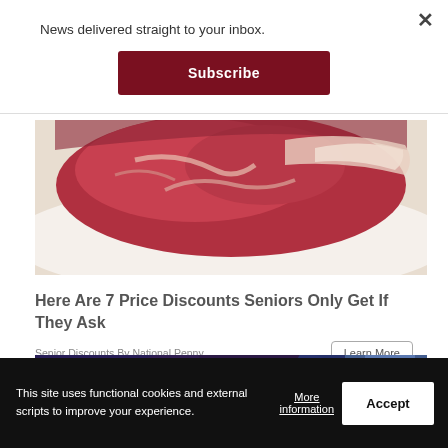News delivered straight to your inbox.
Subscribe
[Figure (photo): Close-up photo of raw red meat (steak) on white paper/surface]
Here Are 7 Price Discounts Seniors Only Get If They Ask
Senior Discounts By National Penny
Learn More
[Figure (photo): Photo of people at a nightclub or concert event with purple/blue lighting, crowd visible]
This site uses functional cookies and external scripts to improve your experience.
More information
Accept